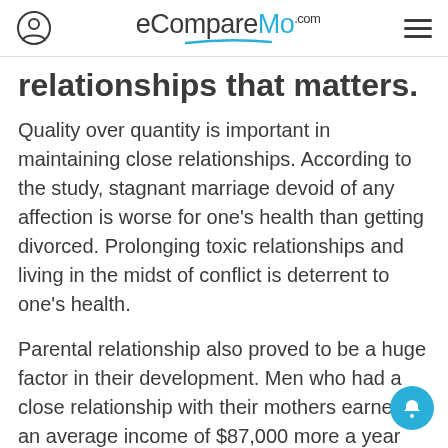eCompareMo.com
relationships that matters.
Quality over quantity is important in maintaining close relationships. According to the study, stagnant marriage devoid of any affection is worse for one's health than getting divorced. Prolonging toxic relationships and living in the midst of conflict is deterrent to one's health.
Parental relationship also proved to be a huge factor in their development. Men who had a close relationship with their mothers earned an average income of $87,000 more a year than those who did not have strong family